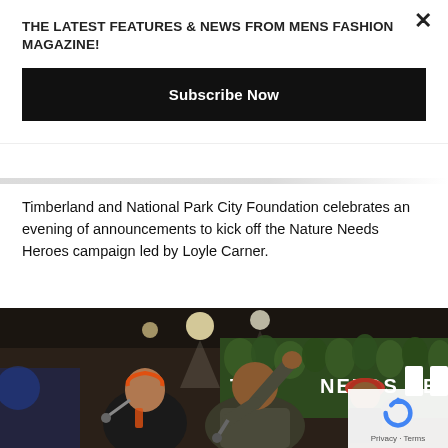THE LATEST FEATURES & NEWS FROM MENS FASHION MAGAZINE!
Subscribe Now
Timberland and National Park City Foundation celebrates an evening of announcements to kick off the Nature Needs Heroes campaign led by Loyle Carner.
[Figure (photo): Two performers on stage in front of a backdrop reading 'NEEDS HEROES' surrounded by green plants, with a third person visible in the background wearing a red cap.]